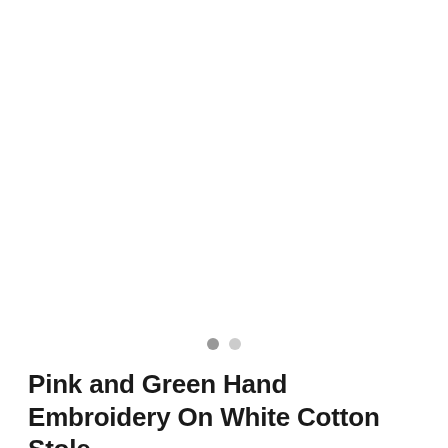[Figure (photo): Product image area (white/blank) for a pink and green hand embroidery on white cotton stole]
[Figure (other): Two dots navigation indicator: one dark grey filled dot and one light grey dot, indicating image carousel position]
Pink and Green Hand Embroidery On White Cotton Stole